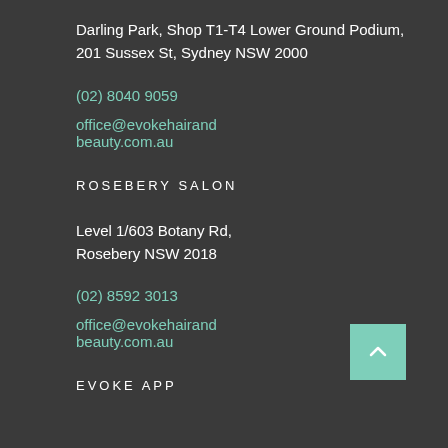Darling Park, Shop T1-T4 Lower Ground Podium,
201 Sussex St, Sydney NSW 2000
(02) 8040 9059
office@evokehairand beauty.com.au
ROSEBERY SALON
Level 1/603 Botany Rd,
Rosebery NSW 2018
(02) 8592 3013
office@evokehairand beauty.com.au
EVOKE APP